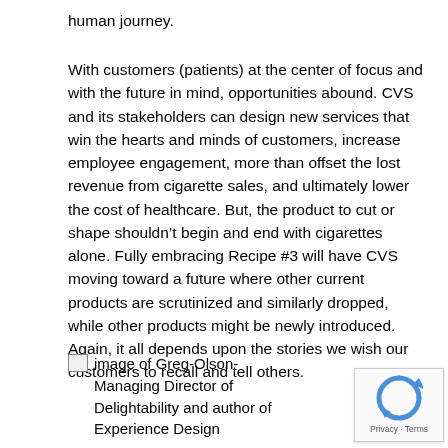human journey.
With customers (patients) at the center of focus and with the future in mind, opportunities abound. CVS and its stakeholders can design new services that win the hearts and minds of customers, increase employee engagement, more than offset the lost revenue from cigarette sales, and ultimately lower the cost of healthcare. But, the product to cut or shape shouldn’t begin and end with cigarettes alone. Fully embracing Recipe #3 will have CVS moving toward a future where other current products are scrutinized and similarly dropped, while other products might be newly introduced. Again, it all depends upon the stories we wish our customers to recall and tell others.
image of Greg-Olson-Managing Director of Delightability and author of Experience Design